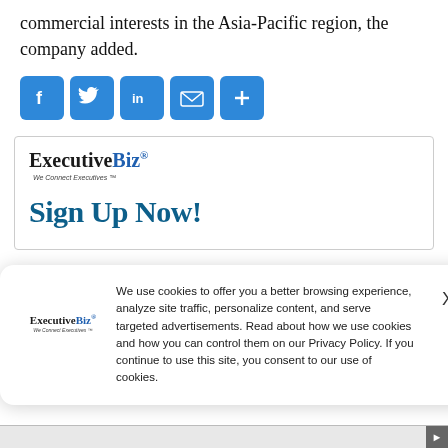commercial interests in the Asia-Pacific region, the company added.
[Figure (infographic): Social sharing icons: Facebook, Twitter, LinkedIn, Email, More (plus sign), all in blue rounded square buttons]
[Figure (logo): ExecutiveBiz logo with tagline 'We Connect Executives' and Sign Up Now heading]
We use cookies to offer you a better browsing experience, analyze site traffic, personalize content, and serve targeted advertisements. Read about how we use cookies and how you can control them on our Privacy Policy. If you continue to use this site, you consent to our use of cookies.